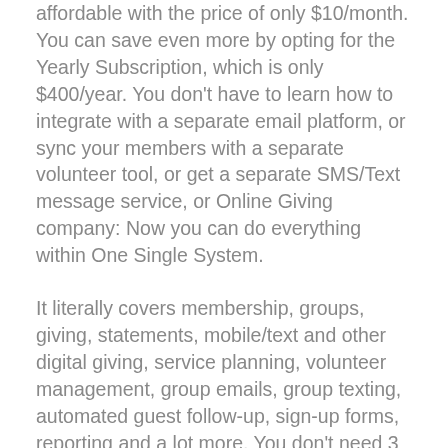affordable with the price of only $10/month. You can save even more by opting for the Yearly Subscription, which is only $400/year. You don't have to learn how to integrate with a separate email platform, or sync your members with a separate volunteer tool, or get a separate SMS/Text message service, or Online Giving company: Now you can do everything within One Single System.
It literally covers membership, groups, giving, statements, mobile/text and other digital giving, service planning, volunteer management, group emails, group texting, automated guest follow-up, sign-up forms, reporting and a lot more. You don't need 3 or 4 apps. You don't need multiple accounts.